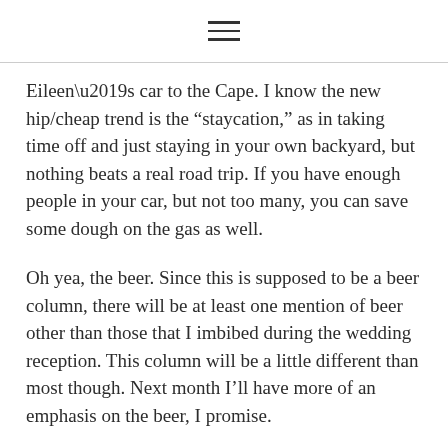Eileen’s car to the Cape. I know the new hip/cheap trend is the “staycation,” as in taking time off and just staying in your own backyard, but nothing beats a real road trip. If you have enough people in your car, but not too many, you can save some dough on the gas as well.
Oh yea, the beer. Since this is supposed to be a beer column, there will be at least one mention of beer other than those that I imbibed during the wedding reception. This column will be a little different than most though. Next month I’ll have more of an emphasis on the beer, I promise.